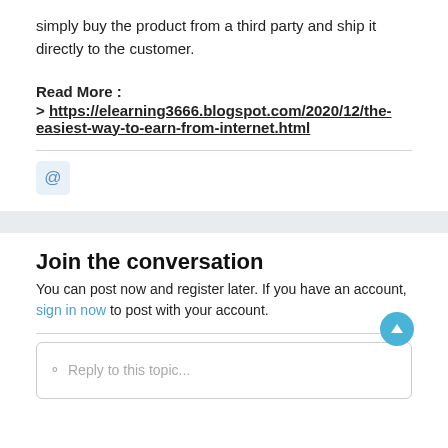simply buy the product from a third party and ship it directly to the customer.
Read More : > https://elearning3666.blogspot.com/2020/12/the-easiest-way-to-earn-from-internet.html
[Figure (other): @ icon button, light blue rounded square]
Join the conversation
You can post now and register later. If you have an account, sign in now to post with your account.
[Figure (other): Reply to this topic text input box with speech bubble icon and scroll-to-top circular button]